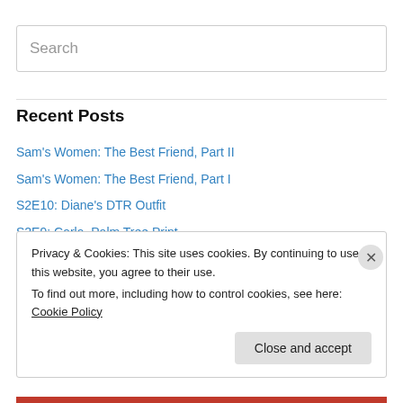Search
Recent Posts
Sam's Women: The Best Friend, Part II
Sam's Women: The Best Friend, Part I
S2E10: Diane's DTR Outfit
S2E9: Carla, Palm Tree Print
S2E8: Diane, Kimono Top
Privacy & Cookies: This site uses cookies. By continuing to use this website, you agree to their use.
To find out more, including how to control cookies, see here: Cookie Policy